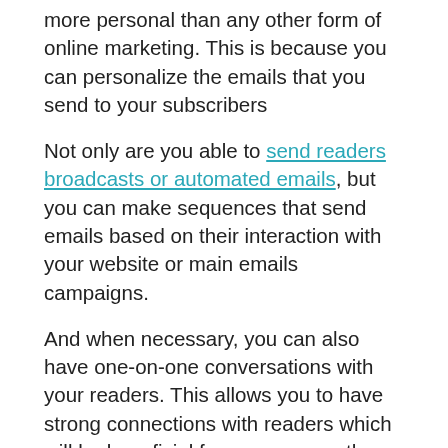more personal than any other form of online marketing. This is because you can personalize the emails that you send to your subscribers
Not only are you able to send readers broadcasts or automated emails, but you can make sequences that send emails based on their interaction with your website or main emails campaigns.
And when necessary, you can also have one-on-one conversations with your readers. This allows you to have strong connections with readers which will be beneficial for you as an author who plans on writing more books.
Create connections with